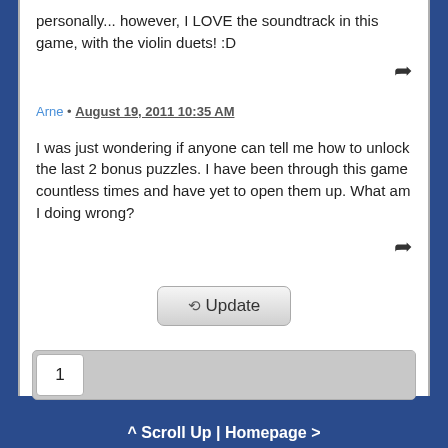personally... however, I LOVE the soundtrack in this game, with the violin duets! :D
Arne • August 19, 2011 10:35 AM
I was just wondering if anyone can tell me how to unlock the last 2 bonus puzzles. I have been through this game countless times and have yet to open them up. What am I doing wrong?
Update
1
^ Scroll Up | Homepage >